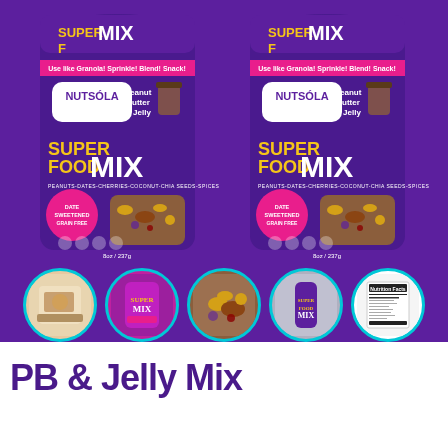[Figure (photo): Two purple Nutsola Peanut Butter & Jelly Super Food Mix product bags side by side on a purple background. Each bag shows 'SUPER MIX' at top, 'NUTSOLA Peanut Butter & Jelly' logo, 'SUPER FOOD MIX' in large letters, 'PEANUTS-DATES-CHERRIES-COCONUT-CHIA SEEDS-SPICES', 'DATE SWEETENED GRAIN FREE' badge, and '8oz / 237g' at bottom.]
[Figure (photo): Row of five circular thumbnail images with teal borders showing: product lifestyle shot, product front, product contents, product side/back, nutrition facts label.]
PB & Jelly Mix